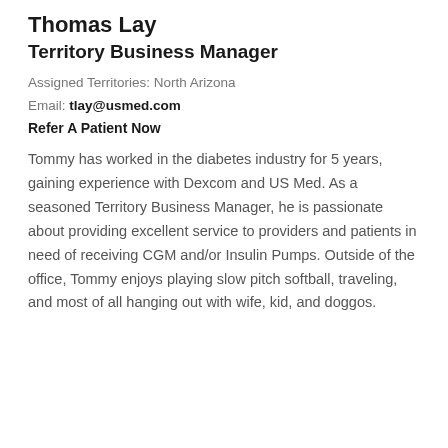Thomas Lay
Territory Business Manager
Assigned Territories: North Arizona
Email: tlay@usmed.com
Refer A Patient Now
Tommy has worked in the diabetes industry for 5 years, gaining experience with Dexcom and US Med. As a seasoned Territory Business Manager, he is passionate about providing excellent service to providers and patients in need of receiving CGM and/or Insulin Pumps. Outside of the office, Tommy enjoys playing slow pitch softball, traveling, and most of all hanging out with wife, kid, and doggos.